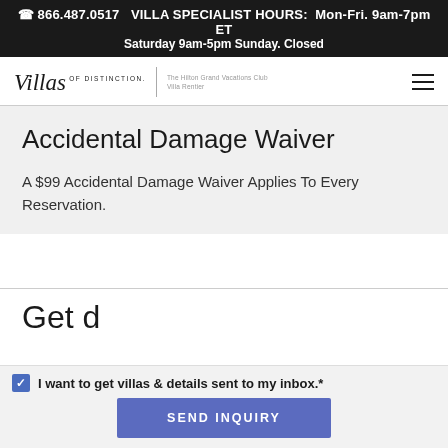📞 866.487.0517  VILLA SPECIALIST HOURS: Mon-Fri. 9am-7pm ET Saturday 9am-5pm Sunday. Closed
[Figure (logo): Villas of Distinction logo with italic script text and 'The Hilton Grand Vacations Club Villa Rentier' subtitle, plus hamburger menu icon]
Accidental Damage Waiver
A $99 Accidental Damage Waiver Applies To Every Reservation.
I want to get villas & details sent to my inbox.*